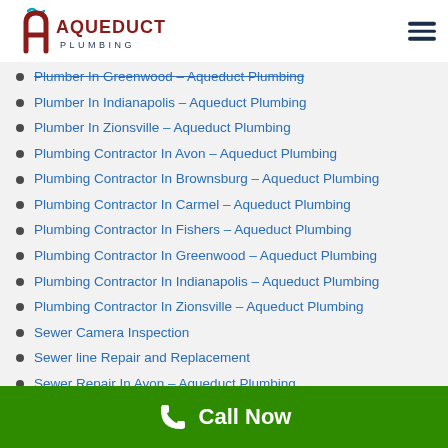Aqueduct Plumbing
Plumber In Greenwood – Aqueduct Plumbing
Plumber In Indianapolis – Aqueduct Plumbing
Plumber In Zionsville – Aqueduct Plumbing
Plumbing Contractor In Avon – Aqueduct Plumbing
Plumbing Contractor In Brownsburg – Aqueduct Plumbing
Plumbing Contractor In Carmel – Aqueduct Plumbing
Plumbing Contractor In Fishers – Aqueduct Plumbing
Plumbing Contractor In Greenwood – Aqueduct Plumbing
Plumbing Contractor In Indianapolis – Aqueduct Plumbing
Plumbing Contractor In Zionsville – Aqueduct Plumbing
Sewer Camera Inspection
Sewer line Repair and Replacement
Sewer Repair In Avon – Aqueduct Plumbing
Call Now